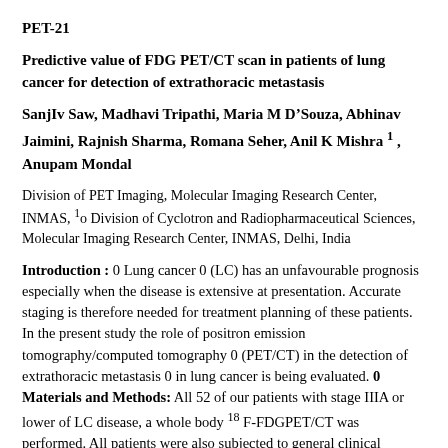PET-21
Predictive value of FDG PET/CT scan in patients of lung cancer for detection of extrathoracic metastasis
SanjIv Saw, Madhavi Tripathi, Maria M D’Souza, Abhinav Jaimini, Rajnish Sharma, Romana Seher, Anil K Mishra 1 , Anupam Mondal
Division of PET Imaging, Molecular Imaging Research Center, INMAS, 1o Division of Cyclotron and Radiopharmaceutical Sciences, Molecular Imaging Research Center, INMAS, Delhi, India
Introduction : 0 Lung cancer 0 (LC) has an unfavourable prognosis especially when the disease is extensive at presentation. Accurate staging is therefore needed for treatment planning of these patients. In the present study the role of positron emission tomography/computed tomography 0 (PET/CT) in the detection of extrathoracic metastasis 0 in lung cancer is being evaluated. 0 Materials and Methods: All 52 of our patients with stage IIIA or lower of LC disease, a whole body 18 F-FDGPET/CT was performed. All patients were also subjected to general clinical evaluation, chest x-rays and chest contrast enhanced CT (CECT)